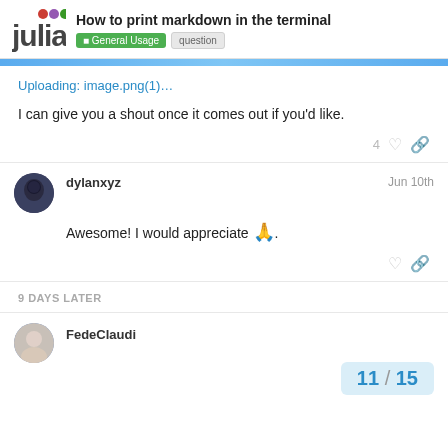How to print markdown in the terminal — General Usage | question
Uploading: image.png(1)…
I can give you a shout once it comes out if you'd like.
dylanxyz — Jun 10th
Awesome! I would appreciate 🙏.
9 DAYS LATER
FedeClaudi
11 / 15